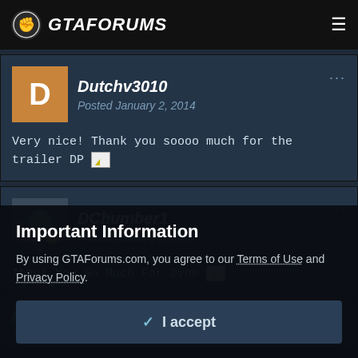GTAFORUMS
Dutchv3010
Posted January 2, 2014
Very nice! Thank you soooo much for the trailer DP [emoji]
DChumber1
Posted January 2, 2014
Thank You So Much For Dyom [emoji]
Important Information
By using GTAForums.com, you agree to our Terms of Use and Privacy Policy.
✓ I accept